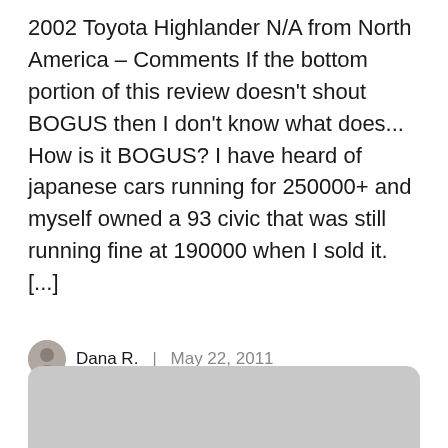2002 Toyota Highlander N/A from North America – Comments If the bottom portion of this review doesn't shout BOGUS then I don't know what does... How is it BOGUS? I have heard of japanese cars running for 250000+ and myself owned a 93 civic that was still running fine at 190000 when I sold it. [...]
Dana R. | May 22, 2011
[Figure (other): Gray rounded rectangle box at bottom of page, partially visible]